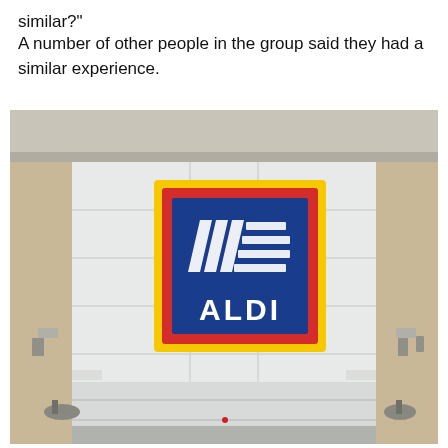similar?"
A number of other people in the group said they had a similar experience.
[Figure (photo): Exterior photo of an ALDI grocery store showing the facade with the ALDI logo sign — a blue square with red and yellow border frames, featuring the stylized white three-stripe and triangle logo above the word ALDI in white letters.]